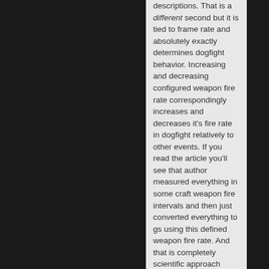descriptions. That is a different second but it is tied to frame rate and absolutely exactly determines dogfight behavior. Increasing and decreasing configured weapon fire rate correspondingly increases and decreases it's fire rate in dogfight relatively to other events. If you read the article you'll see that author measured everything in some craft weapon fire intervals and then just converted everything to gs using this defined weapon fire rate. And that is completely scientific approach which will produce same exactly results regardless of configured weapon fire rate used in observations and computations!

So it does not matter which weapon to use and